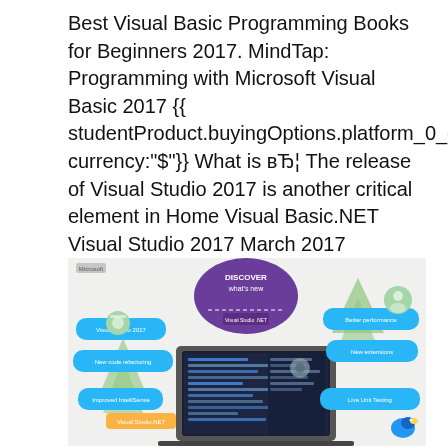Best Visual Basic Programming Books for Beginners 2017. MindTap: Programming with Microsoft Visual Basic 2017 {{ studentProduct.buyingOptions.platform_0_digitalPlatforms_0_0.currentPrice currency:"$"}} What is в„¦ The release of Visual Studio 2017 is another critical element in Home Visual Basic.NET Visual Studio 2017 March 2017 Format(s): PDF, Mobi File.
[Figure (screenshot): Screenshot of Visual Studio 2017 promotional/discovery graphic showing a laptop with IDE code editor, surrounded by chat bubble callouts and a 'Discover what's new' purple badge, with a Visual Studio .NET logo. Trees and colorful icons decorate the scene.]